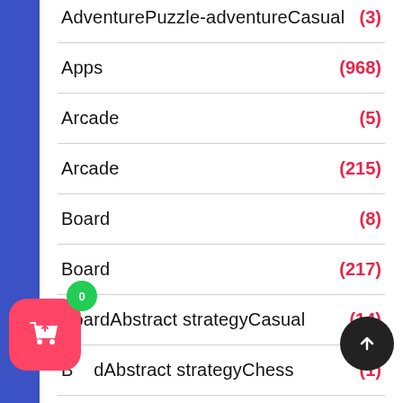AdventurePuzzle-adventureCasual (3)
Apps (968)
Arcade (5)
Arcade (215)
Board (8)
Board (217)
BoardAbstract strategyCasual (14)
BoardAbstract strategyChess (1)
ardAbstract strategyChessCasual (...)